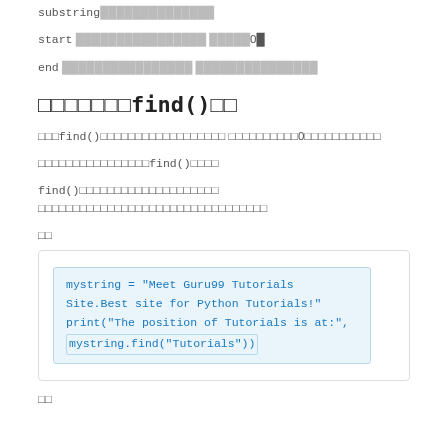substring
start                    0
end
□□□□□□□find()□□
□□□find()□□□□□□□□□□□□□□□□□ □□□□□□□□□□0□□□□□□□□□□□
□□□□□□□□□□□□□□□□find()□□□□
find()□□□□□□□□□□□□□□□□□□□□ □□□□□□□□□□□□□□□□□□□□□□□□□□□□□□□□□
□□
[Figure (screenshot): Code block showing Python code: mystring = "Meet Guru99 Tutorials Site.Best site for Python Tutorials!" print("The position of Tutorials is at:", mystring.find("Tutorials"))]
□□